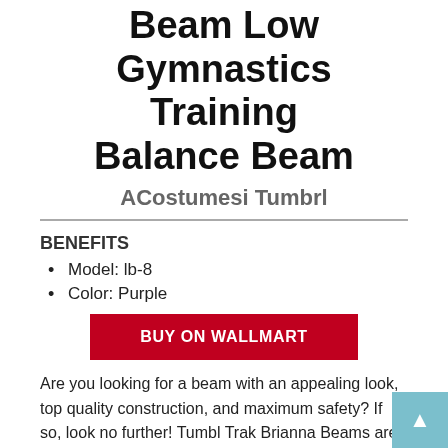Beam Low Gymnastics Training Balance Beam
ACostumesi Tumbrl
BENEFITS
Model: lb-8
Color: Purple
BUY ON WALLMART
Are you looking for a beam with an appealing look, top quality construction, and maximum safety? If so, look no further! Tumbl Trak Brianna Beams are made with your gymnast in mind. Each beam features solid wood core construction with a 1/4 inch rubber cell padding to give it that competition feel. This super easy to assemble beam can be set up and